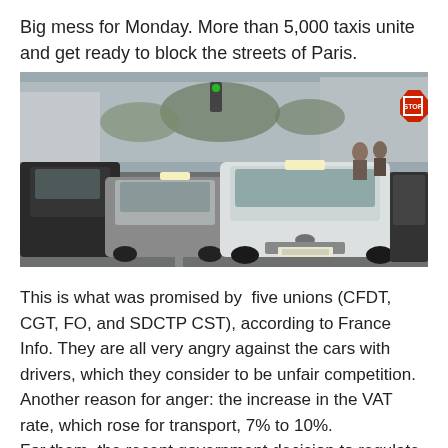Big mess for Monday. More than 5,000 taxis unite and get ready to block the streets of Paris.
[Figure (photo): Photo of a traffic jam on a Paris street, with multiple taxis and cars packed closely together, buildings visible in the background, and a stop sign on the right.]
This is what was promised by  five unions (CFDT, CGT, FO, and SDCTP CST), according to France Info. They are all very angry against the cars with drivers, which they consider to be unfair competition. Another reason for anger: the increase in the VAT rate, which rose for transport, 7% to 10%.
For them, the recent government decision to regulate the activity of VTC (The Paris equivalent of private hire)